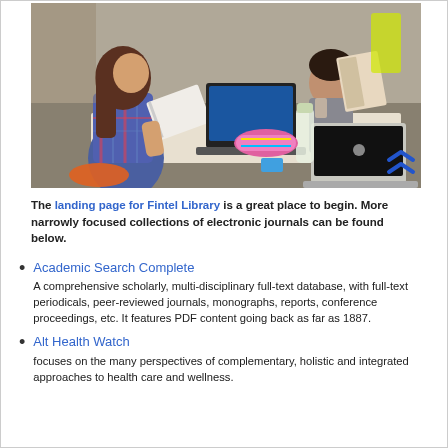[Figure (photo): Students studying at a table with laptops and books in a modern library setting]
The landing page for Fintel Library is a great place to begin. More narrowly focused collections of electronic journals can be found below.
Academic Search Complete
A comprehensive scholarly, multi-disciplinary full-text database, with full-text periodicals, peer-reviewed journals, monographs, reports, conference proceedings, etc. It features PDF content going back as far as 1887.
Alt Health Watch
focuses on the many perspectives of complementary, holistic and integrated approaches to health care and wellness.